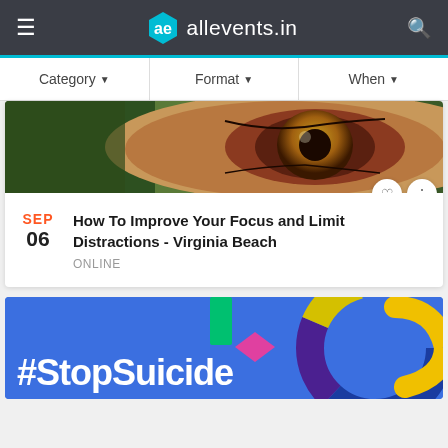ae allevents.in
Category ▼   Format ▼   When ▼
[Figure (photo): Close-up photo of a human eye with green/brown tones]
SEP 06  How To Improve Your Focus and Limit Distractions - Virginia Beach  ONLINE
[Figure (illustration): Blue banner with colorful geometric shapes and #StopSuicide text in white]